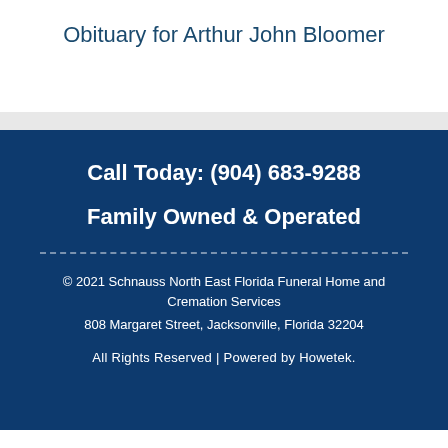Obituary for Arthur John Bloomer
Call Today: (904) 683-9288
Family Owned & Operated
© 2021 Schnauss North East Florida Funeral Home and Cremation Services
808 Margaret Street, Jacksonville, Florida 32204
All Rights Reserved | Powered by Howetek.